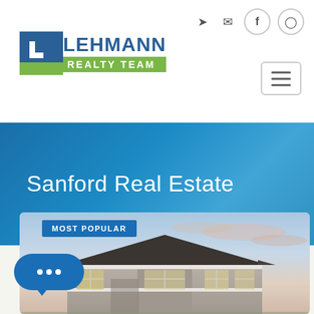[Figure (logo): Lehmann Realty Team logo with blue L icon and green REALTY TEAM banner]
Sanford Real Estate
[Figure (photo): Photo of a residential house with gray siding and windows under a dusk sky with a MOST POPULAR badge overlay]
MOST POPULAR
[Figure (other): Blue chat bubble button with three dots]